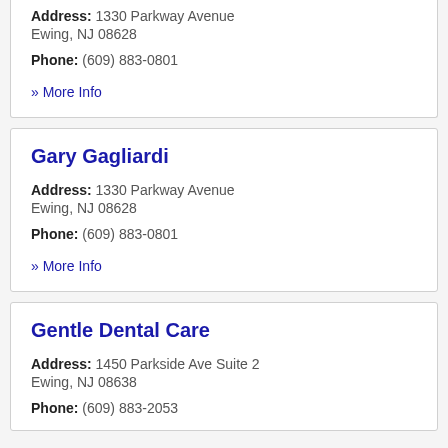Address: 1330 Parkway Avenue
Ewing, NJ 08628
Phone: (609) 883-0801
» More Info
Gary Gagliardi
Address: 1330 Parkway Avenue
Ewing, NJ 08628
Phone: (609) 883-0801
» More Info
Gentle Dental Care
Address: 1450 Parkside Ave Suite 2
Ewing, NJ 08638
Phone: (609) 883-2053